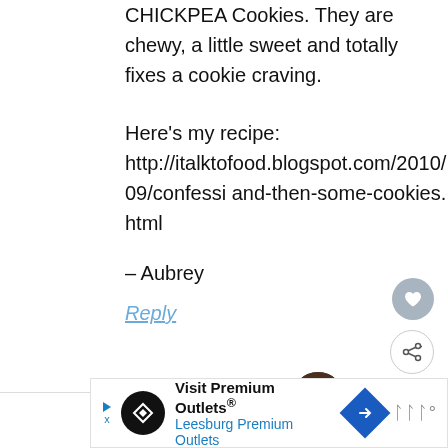CHICKPEA Cookies. They are chewy, a little sweet and totally fixes a cookie craving.
Here's my recipe:
http://italktofood.blogspot.com/2010/09/confessi and-then-some-cookies.html
– Aubrey
Reply
WHAT'S NEXT → Peace & Quiet
Erin says
Visit Premium Outlets® Leesburg Premium Outlets